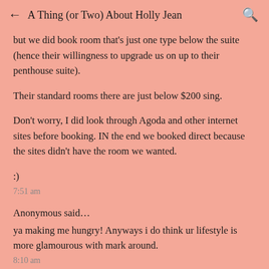← A Thing (or Two) About Holly Jean 🔍
but we did book room that's just one type below the suite (hence their willingness to upgrade us on up to their penthouse suite).
Their standard rooms there are just below $200 sing.
Don't worry, I did look through Agoda and other internet sites before booking. IN the end we booked direct because the sites didn't have the room we wanted.
:)
7:51 am
Anonymous said…
ya making me hungry! Anyways i do think ur lifestyle is more glamourous with mark around.
8:10 am